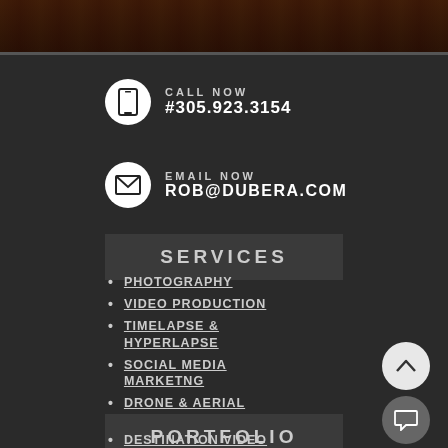[Figure (photo): Dark photograph of a nighttime scene, partially cropped at top of page]
CALL NOW
#305.923.3154
EMAIL NOW
ROB@DUBERA.COM
SERVICES
PHOTOGRAPHY
VIDEO PRODUCTION
TIMELAPSE & HYPERLAPSE
SOCIAL MEDIA MARKETNG
DRONE & AERIAL
PORTFOLIO
DESTINATION VIDEO